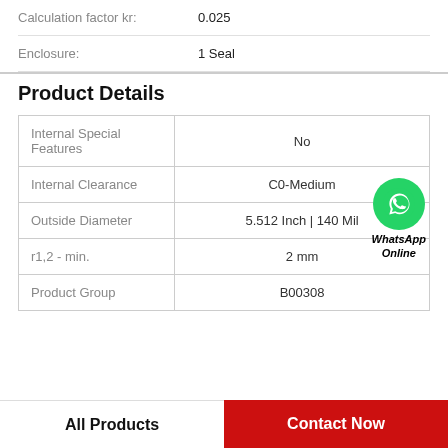Calculation factor kr: 0.025
Enclosure: 1 Seal
Product Details
|  |  |
| --- | --- |
| Internal Special Features | No |
| Internal Clearance | C0-Medium |
| Outside Diameter | 5.512 Inch | 140 Mil |
| r1,2 - min. | 2 mm |
| Product Group | B00308 |
All Products
Contact Now